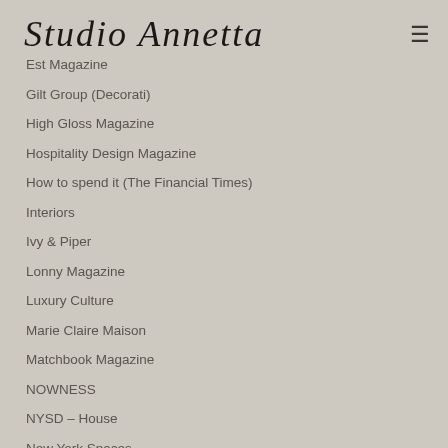Studio Annetta
Est Magazine
Gilt Group (Decorati)
High Gloss Magazine
Hospitality Design Magazine
How to spend it (The Financial Times)
Interiors
Ivy & Piper
Lonny Magazine
Luxury Culture
Marie Claire Maison
Matchbook Magazine
NOWNESS
NYSD – House
New York Spaces
Nomad Chic
Nuevo Estilo